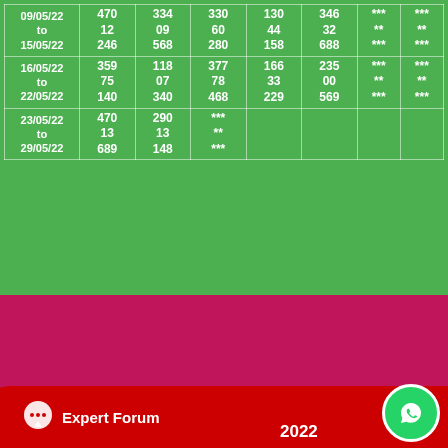| Date | Col1 | Col2 | Col3 | Col4 | Col5 | Col6 | Col7 |
| --- | --- | --- | --- | --- | --- | --- | --- |
| 09/05/22 to 15/05/22 | 470
12
246 | 334
09
568 | 330
60
280 | 130
44
158 | 346
32
688 | ***
**
*** | ***
**
*** |
| 16/05/22 to 22/05/22 | 359
75
140 | 118
07
340 | 377
78
468 | 166
33
229 | 235
00
569 | ***
**
*** | ***
**
*** |
| 23/05/22 to 29/05/22 | 470
13
689 | 290
13
148 | ***
**
*** |  |  |  |  |
[Figure (logo): K logo in yellow and white on pink/magenta background]
[Figure (infographic): Social media icons: Facebook, Twitter, Instagram, YouTube]
Expert Forum
2022